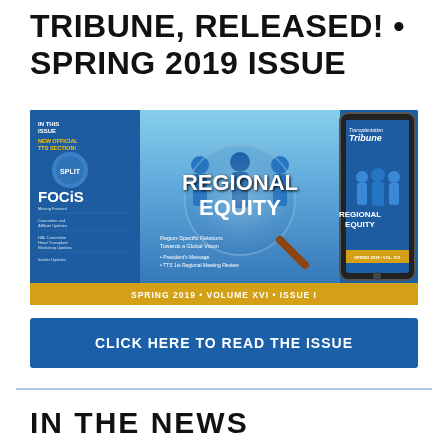TRIBUNE, RELEASED! • SPRING 2019 ISSUE
[Figure (photo): Magazine cover banner for Transplantation Tribune Spring 2019, Volume XVI, Issue I, featuring 'Regional Equity' theme with silhouetted people figures under a magnifying glass, shown alongside a tablet device displaying the same cover. Yellow bar at bottom reads: SPRING 2019 • VOLUME XVI • ISSUE I]
CLICK HERE TO READ THE ISSUE
IN THE NEWS